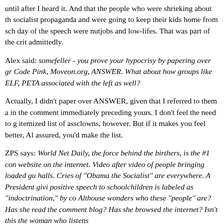until after I heard it. And that the people who were shrieking about the socialist propaganda and were going to keep their kids home from school the day of the speech were nutjobs and low-lifes. That was part of the critique, admittedly.
Alex said: somefeller - you prove your hypocrisy by papering over groups like Code Pink, Moveon.org, ANSWER. What about how groups like ELF, PETA associated with the left as well?
Actually, I didn't paper over ANSWER, given that I referred to them already in the comment immediately preceding yours. I don't feel the need to give an itemized list of assclowns, however. But if it makes you feel better, Alex, rest assured, you'd make the list.
ZPS says: World Net Daily, the force behind the birthers, is the #1 conservative website on the internet. Video after video of people bringing loaded guns to town halls. Cries of "Obama the Socialist" are everywhere. A President giving a positive speech to schoolchildren is labeled as "indoctrination," by conservatives. Althouse wonders who these "people" are? Has she read the comments on her blog? Has she browsed the internet? Isn't this the woman who listens to Rush Limbaugh? And now she worries about civility and decency in the discourse?